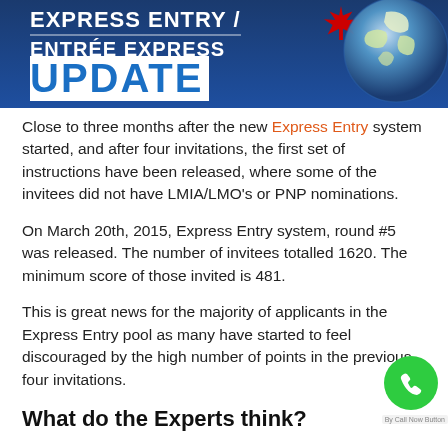[Figure (illustration): Express Entry / Entrée Express Update banner with blue background, white bold text, Canadian maple leaf, and globe graphic]
Close to three months after the new Express Entry system started, and after four invitations, the first set of instructions have been released, where some of the invitees did not have LMIA/LMO's or PNP nominations.
On March 20th, 2015, Express Entry system, round #5 was released. The number of invitees totalled 1620. The minimum score of those invited is 481.
This is great news for the majority of applicants in the Express Entry pool as many have started to feel discouraged by the high number of points in the previous four invitations.
What do the Experts think?